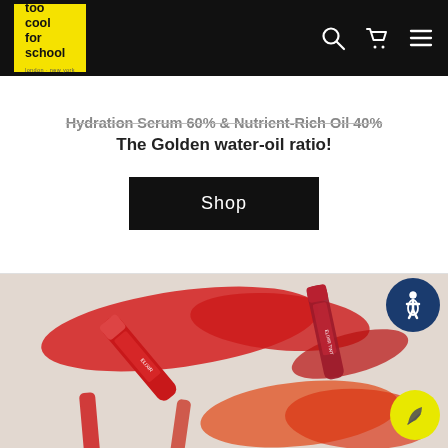too cool for school — navigation bar with logo, search, cart, and menu icons
Hydration Serum 60% & Nutrient-Rich Oil 40%
The Golden water-oil ratio!
Shop
[Figure (photo): Flat-lay product photo of red lip elixir tint tubes and gloss products with red color swatches on a light background]